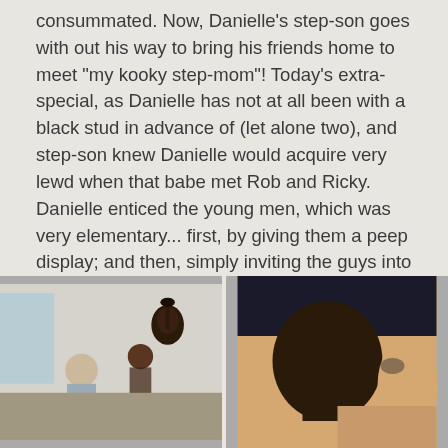consummated. Now, Danielle's step-son goes with out his way to bring his friends home to meet "my kooky step-mom"! Today's extra-special, as Danielle has not at all been with a black stud in advance of (let alone two), and step-son knew Danielle would acquire very lewd when that babe met Rob and Ricky. Danielle enticed the young men, which was very elementary... first, by giving them a peep display; and then, simply inviting the guys into her dressing room. As step-son sat and beat his meat, Rob and Ricky ran a educate on step-mom, ending with a sexy, creamy load deep in her bawdy cleft. Then a sticky discharged all over her face and scones. Don't forget step-son's reward!
[Figure (photo): Two side-by-side photographs. Left photo shows people in a room with a guitar on the wall. Right photo shows a close-up of a person.]